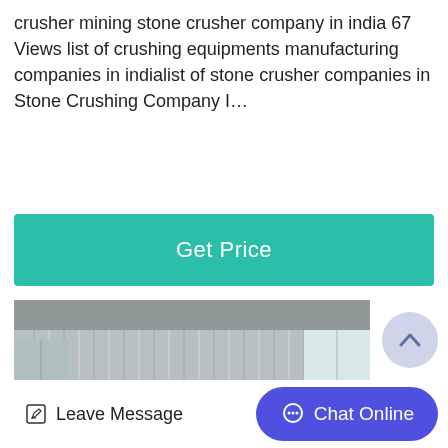crusher mining stone crusher company in india 67 Views list of crushing equipments manufacturing companies in indialist of stone crusher companies in Stone Crushing Company I…
[Figure (other): Green teal 'Get Price' button]
[Figure (photo): Photograph of a row of large industrial jaw crusher machines in a factory warehouse with corrugated metal walls and windows]
[Figure (other): Scroll-to-top circular button with upward chevron icon]
[Figure (other): Leave Message icon button and Chat Online blue pill button at the bottom of the page]